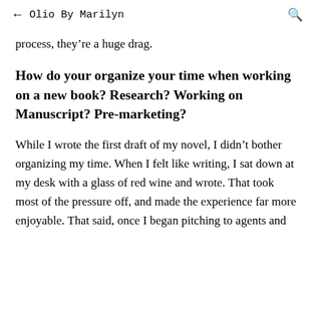← Olio By Marilyn 🔍
process, they're a huge drag.
How do your organize your time when working on a new book? Research? Working on Manuscript? Pre-marketing?
While I wrote the first draft of my novel, I didn't bother organizing my time. When I felt like writing, I sat down at my desk with a glass of red wine and wrote. That took most of the pressure off, and made the experience far more enjoyable. That said, once I began pitching to agents and